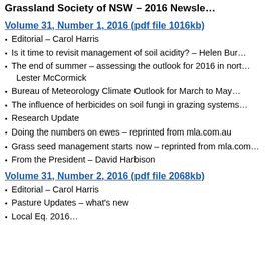Grassland Society of NSW – 2016 Newsletter
Volume 31, Number 1, 2016 (pdf file 1016kb)
Editorial – Carol Harris
Is it time to revisit management of soil acidity? – Helen Bur…
The end of summer – assessing the outlook for 2016 in north… Lester McCormick
Bureau of Meteorology Climate Outlook for March to May…
The influence of herbicides on soil fungi in grazing systems…
Research Update
Doing the numbers on ewes – reprinted from mla.com.au
Grass seed management starts now – reprinted from mla.com…
From the President – David Harbison
Volume 31, Number 2, 2016 (pdf file 2068kb)
Editorial – Carol Harris
Pasture Updates – what's new
Local Eq. 2016…